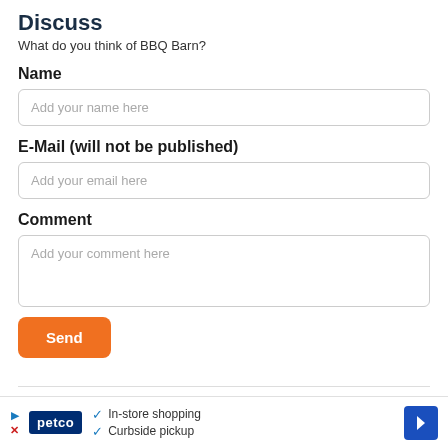Discuss
What do you think of BBQ Barn?
Name
Add your name here
E-Mail (will not be published)
Add your email here
Comment
Add your comment here
Send
Show More
[Figure (other): Petco advertisement banner with in-store shopping and curbside pickup text]